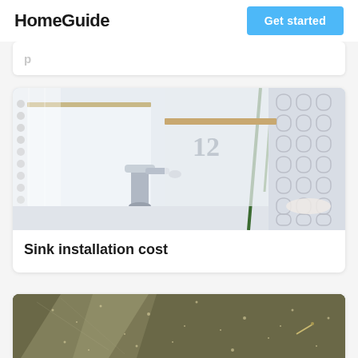HomeGuide | Get started
Sink installation cost
[Figure (photo): Modern bathroom sink with a brushed chrome faucet, sheer white curtains, a tall green plant stem in a glass vase, decorative patterned tile backdrop on the right side.]
[Figure (photo): Close-up of wet ground or debris with what appears to be scattered material and a nail or spike visible, dark muddy or sparkly surface partially visible at bottom of page.]